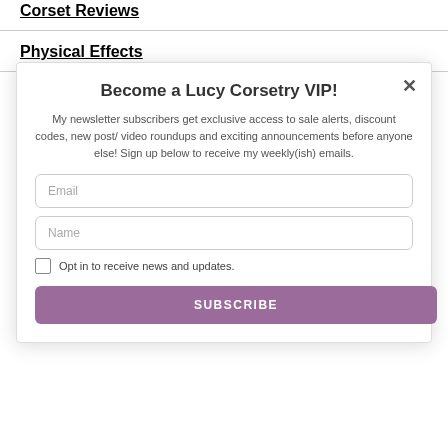Corset Reviews
Physical Effects
Become a Lucy Corsetry VIP!
My newsletter subscribers get exclusive access to sale alerts, discount codes, new post/ video roundups and exciting announcements before anyone else! Sign up below to receive my weekly(ish) emails.
Email
Name
Opt in to receive news and updates.
SUBSCRIBE